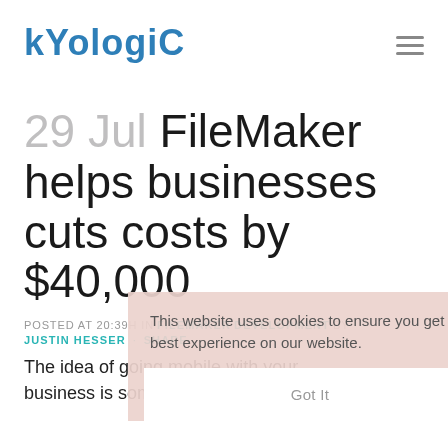KYOLogic
29 Jul FileMaker helps businesses cuts costs by $40,000
POSTED AT 20:39H IN FILEMAKER DEVELOPMENT BY JUSTIN HESSER · SHARE
The idea of going mobile with your business is something every company
This website uses cookies to ensure you get the best experience on our website. Got It